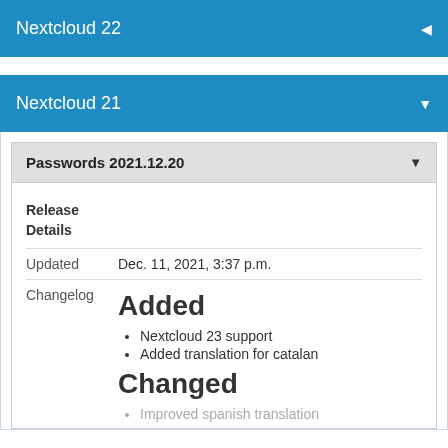Nextcloud 22
Nextcloud 21
Passwords 2021.12.20
|  |  |
| --- | --- |
| Release Details |  |
| Updated | Dec. 11, 2021, 3:37 p.m. |
| Changelog | Added
• Nextcloud 23 support
• Added translation for catalan

Changed
• Improved spanish translation |
Nextcloud 23 support
Added translation for catalan